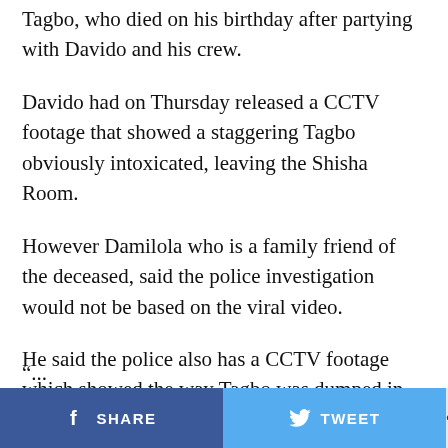Tagbo, who died on his birthday after partying with Davido and his crew.
Davido had on Thursday released a CCTV footage that showed a staggering Tagbo obviously intoxicated, leaving the Shisha Room.
However Damilola who is a family friend of the deceased, said the police investigation would not be based on the viral video.
He said the police also has a CCTV footage which showed the way Tagbo was dumped in the hospital.
Damilola told Punch, “The CCTV in the hospital showed the guys that dropped him and the way he was dropped at the hospital.
SHARE  TWEET  ...